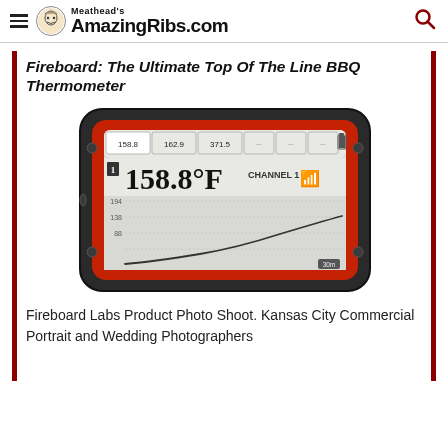Meathead's AmazingRibs.com
Fireboard: The Ultimate Top Of The Line BBQ Thermometer
[Figure (photo): A Fireboard BBQ thermometer device with a dark rounded rectangular body and a red-glowing LCD display showing temperature reading of 158.8°F on Channel 1, with a temperature graph below showing rising curve. Display also shows readings 158.8, 162.9, 371.5 and other channel indicators at the top.]
Fireboard Labs Product Photo Shoot. Kansas City Commercial Portrait and Wedding Photographers